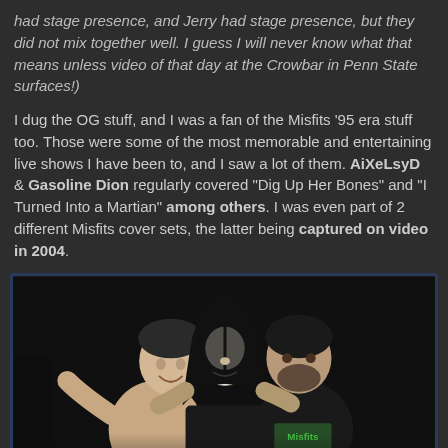had stage presence, and Jerry had stage presence, but they did not mix together well. I guess I will never know what that means unless video of that day at the Crowbar in Penn State surfaces!)
I dug the OG stuff, and I was a fan of the Misfits '95 era stuff too. Those were some of the most memorable and entertaining live shows I have been to, and I saw a lot of them. AiXeLsyD & Gasoline Dion regularly covered "Dig Up Her Bones" and "I Turned Into a Martian" among others. I was even part of 2 different Misfits cover sets, the latter being captured on video in 2004.
[Figure (photo): Three people posing together for a photo. The person on the left is shirtless, the person in the middle has face paint/makeup on, and the person on the right is wearing a black Misfits t-shirt.]